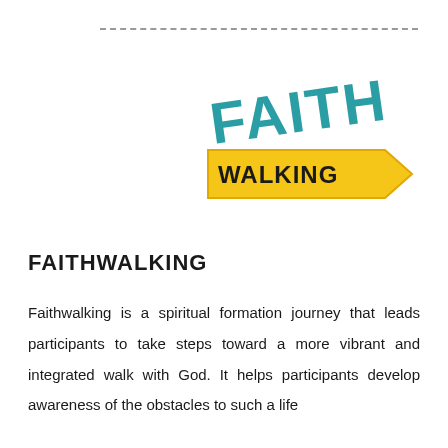[Figure (logo): FaithWalking logo: the word FAITH in teal/blue block letters at a slight angle above a yellow arrow sign shape containing the word WALKING in bold black text]
FAITHWALKING
Faithwalking is a spiritual formation journey that leads participants to take steps toward a more vibrant and integrated walk with God. It helps participants develop awareness of the obstacles to such a life